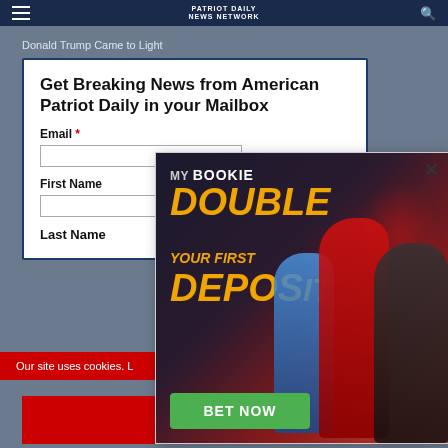PATRIOT DAILY NEWS NETWORK
Donald Trump Came to Light
Tucker Carlson Made One Prediction That Had All Hell Breaking Loose
Get Breaking News from American Patriot Daily in your Mailbox
Email *
First Name
Last Name
Our site uses cookies. L
[Figure (infographic): MyBookie advertisement popup: 'MY BOOKIE - DOUBLE YOUR FIRST DEPOSIT' with orange text on dark background, athlete figures, and a green 'BET NOW' button]